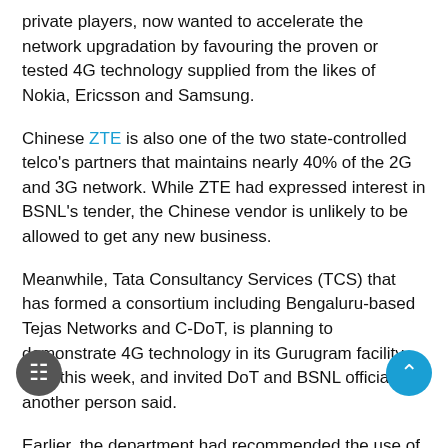private players, now wanted to accelerate the network upgradation by favouring the proven or tested 4G technology supplied from the likes of Nokia, Ericsson and Samsung.
Chinese ZTE is also one of the two state-controlled telco's partners that maintains nearly 40% of the 2G and 3G network. While ZTE had expressed interest in BSNL's tender, the Chinese vendor is unlikely to be allowed to get any new business.
Meanwhile, Tata Consultancy Services (TCS) that has formed a consortium including Bengaluru-based Tejas Networks and C-DoT, is planning to demonstrate 4G technology in its Gurugram facility later this week, and invited DoT and BSNL officials, another person said.
Earlier, the department had recommended the use of Indian core network and other radio elements made and procured locally to deploy state-run telco's data network. C-DoT, PertSol and US-based Mavenir claimed that they can provide 4G core for BSNL's upcoming 4G network. However, BSNL expressed apprehensions due to the